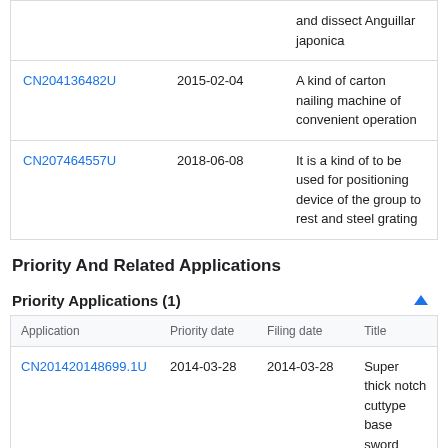| Application | Date | Title |
| --- | --- | --- |
|  |  | and dissect Anguillar japonica |
| CN204136482U | 2015-02-04 | A kind of carton nailing machine of convenient operation |
| CN207464557U | 2018-06-08 | It is a kind of to be used for positioning device of the group to rest and steel grating |
Priority And Related Applications
Priority Applications (1)
| Application | Priority date | Filing date | Title |
| --- | --- | --- | --- |
| CN201420148699.1U | 2014-03-28 | 2014-03-28 | Super thick notch cuttype base sword product processing |